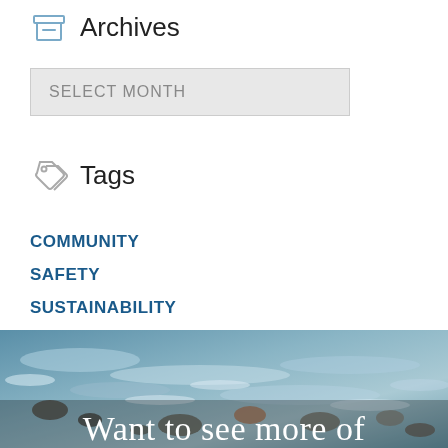Archives
SELECT MONTH
Tags
COMMUNITY
SAFETY
SUSTAINABILITY
TECHNICAL EXCELLENCE
[Figure (photo): River with rocks and flowing water, with white overlay text 'Want to see more of']